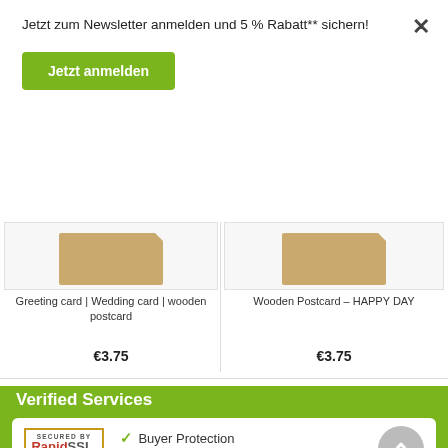Jetzt zum Newsletter anmelden und 5 % Rabatt** sichern!
Jetzt anmelden
[Figure (illustration): Wooden greeting card product thumbnail]
Greeting card | Wedding card | wooden postcard
€3.75
[Figure (illustration): Wooden postcard HAPPY DAY product thumbnail]
Wooden Postcard – HAPPY DAY
€3.75
Verified Services
[Figure (logo): Secured by RapidSSL logo with www.rapidssl.com]
Buyer Protection
Privacy Policy
Safe Payment
Verified Quality